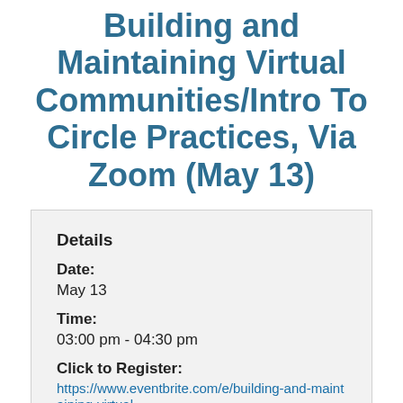Building and Maintaining Virtual Communities/Intro To Circle Practices, Via Zoom (May 13)
Details
Date:
May 13
Time:
03:00 pm - 04:30 pm
Click to Register:
https://www.eventbrite.com/e/building-and-maintaining-virtual-